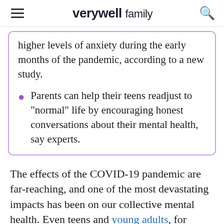verywell family
higher levels of anxiety during the early months of the pandemic, according to a new study.
Parents can help their teens readjust to "normal" life by encouraging honest conversations about their mental health, say experts.
The effects of the COVID-19 pandemic are far-reaching, and one of the most devastating impacts has been on our collective mental health. Even teens and young adults, for whom the risk of